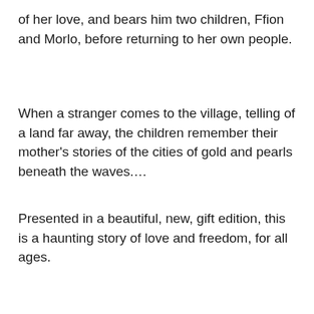of her love, and bears him two children, Ffion and Morlo, before returning to her own people.
When a stranger comes to the village, telling of a land far away, the children remember their mother's stories of the cities of gold and pearls beneath the waves....
Presented in a beautiful, new, gift edition, this is a haunting story of love and freedom, for all ages.